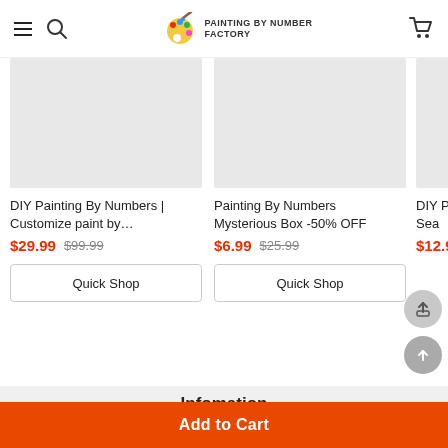PAINTING BY NUMBER FACTORY
[Figure (screenshot): Product card: DIY Painting By Numbers | Customize paint by... $29.99 (was $99.99), Quick Shop button]
[Figure (screenshot): Product card: Painting By Numbers Mysterious Box -50% OFF $6.99 (was $25.99), Quick Shop button]
[Figure (screenshot): Partial product card: DIY Pai... Sea $12.99]
Infomation
Contact Us
Shipping policy
Add to Cart